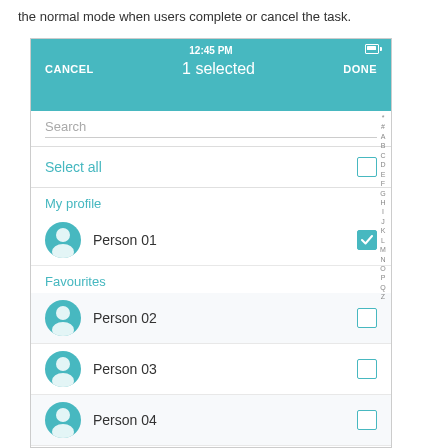the normal mode when users complete or cancel the task.
[Figure (screenshot): Mobile app screenshot showing a contact selection screen with teal header bar displaying '12:45 PM', 'CANCEL', '1 selected', 'DONE'. Below is a search field, a 'Select all' row with unchecked checkbox, 'My profile' section with Person 01 checked, 'Favourites' section with Person 02, Person 03, Person 04 unchecked, and 'Most Frequent contacts' section beginning. An alphabetical index runs along the right side.]